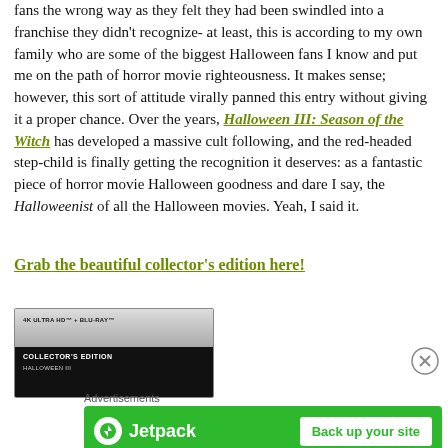fans the wrong way as they felt they had been swindled into a franchise they didn't recognize- at least, this is according to my own family who are some of the biggest Halloween fans I know and put me on the path of horror movie righteousness. It makes sense; however, this sort of attitude virally panned this entry without giving it a proper chance. Over the years, Halloween III: Season of the Witch has developed a massive cult following, and the red-headed step-child is finally getting the recognition it deserves: as a fantastic piece of horror movie Halloween goodness and dare I say, the Halloweenist of all the Halloween movies. Yeah, I said it.
Grab the beautiful collector's edition here!
[Figure (photo): 4K Ultra HD + Blu-ray Collector's Edition product box]
[Figure (other): Close button (X circle icon)]
Advertisements
[Figure (other): Jetpack advertisement banner with 'Back up your site' button]